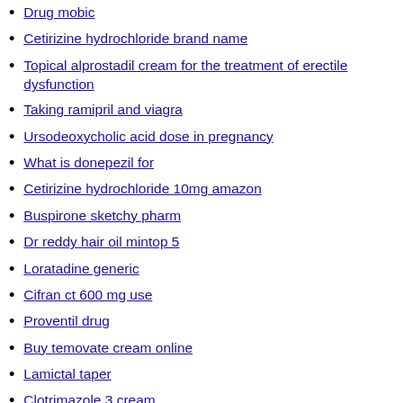Drug mobic
Cetirizine hydrochloride brand name
Topical alprostadil cream for the treatment of erectile dysfunction
Taking ramipril and viagra
Ursodeoxycholic acid dose in pregnancy
What is donepezil for
Cetirizine hydrochloride 10mg amazon
Buspirone sketchy pharm
Dr reddy hair oil mintop 5
Loratadine generic
Cifran ct 600 mg use
Proventil drug
Buy temovate cream online
Lamictal taper
Clotrimazole 3 cream
Sertraline how to take
Cefuroxime axetil 500 mg price